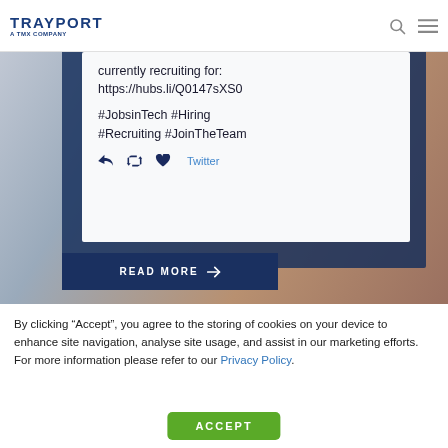TRAYPORT a TMX COMPANY
[Figure (screenshot): Screenshot of a tweet card on a blurred office/keyboard background. The tweet reads: 'currently recruiting for: https://hubs.li/Q0147sXS0 #JobsinTech #Hiring #Recruiting #JoinTheTeam' with Twitter action icons (reply, retweet, like) and a Twitter label. Below is a dark navy READ MORE button with arrow.]
By clicking “Accept”, you agree to the storing of cookies on your device to enhance site navigation, analyse site usage, and assist in our marketing efforts. For more information please refer to our Privacy Policy.
ACCEPT